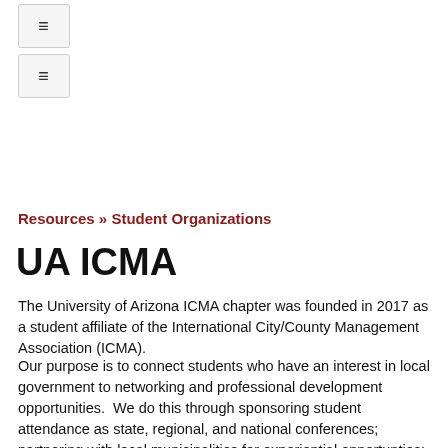[Figure (other): Two hamburger menu icon buttons stacked vertically, each in a light gray rounded rectangle border]
Resources » Student Organizations
UA ICMA
The University of Arizona ICMA chapter was founded in 2017 as a student affiliate of the International City/County Management Association (ICMA).
Our purpose is to connect students who have an interest in local government to networking and professional development opportunities.  We do this through sponsoring student attendance as state, regional, and national conferences; partnering with local municipalities for experiential opportunties; and hosting events where students can connect with the community.